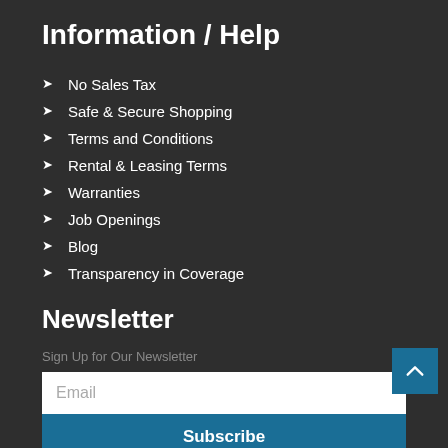Information / Help
No Sales Tax
Safe & Secure Shopping
Terms and Conditions
Rental & Leasing Terms
Warranties
Job Openings
Blog
Transparency in Coverage
Newsletter
Sign Up for Our Newsletter
Email
Subscribe
Facebook